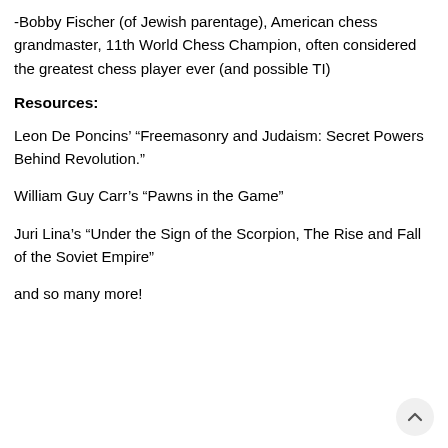-Bobby Fischer (of Jewish parentage), American chess grandmaster, 11th World Chess Champion, often considered the greatest chess player ever (and possible TI)
Resources:
Leon De Poncins' “Freemasonry and Judaism: Secret Powers Behind Revolution.”
William Guy Carr’s “Pawns in the Game”
Juri Lina’s “Under the Sign of the Scorpion, The Rise and Fall of the Soviet Empire”
and so many more!